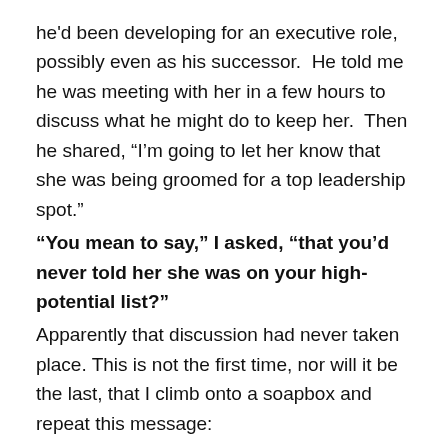he'd been developing for an executive role, possibly even as his successor. He told me he was meeting with her in a few hours to discuss what he might do to keep her. Then he shared, “I’m going to let her know that she was being groomed for a top leadership spot.”
“You mean to say,” I asked, “that you’d never told her she was on your high-potential list?”
Apparently that discussion had never taken place. This is not the first time, nor will it be the last, that I climb onto a soapbox and repeat this message:
Tell your people – ESPECIALLY your best talent – how much you love them!
Do you remember how much time and attention you lavished on your best and